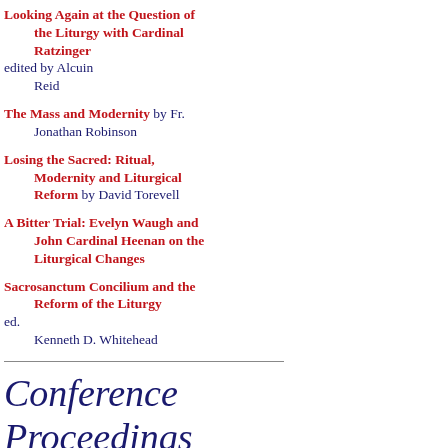Looking Again at the Question of the Liturgy with Cardinal Ratzinger edited by Alcuin Reid
The Mass and Modernity by Fr. Jonathan Robinson
Losing the Sacred: Ritual, Modernity and Liturgical Reform by David Torevell
A Bitter Trial: Evelyn Waugh and John Cardinal Heenan on the Liturgical Changes
Sacrosanctum Concilium and the Reform of the Liturgy ed. Kenneth D. Whitehead
Conference Proceedings
Authentic Liturgical Renewal in Contemporary Perspective (Sacra Liturgia 2016)